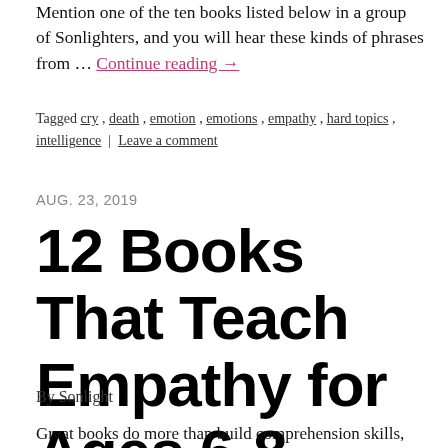Mention one of the ten books listed below in a group of Sonlighters, and you will hear these kinds of phrases from … Continue reading →
Tagged cry, death, emotion, emotions, empathy, hard topics, intelligence | Leave a comment
AUG. 23, 2019
12 Books That Teach Empathy for Ages 6-8
By Sonlight
Great books do more than build comprehension skills,